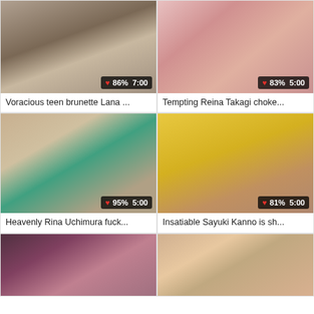[Figure (photo): Thumbnail of teen brunette Lana video with 86% rating and 7:00 duration]
Voracious teen brunette Lana ...
[Figure (photo): Thumbnail of Reina Takagi video with 83% rating and 5:00 duration]
Tempting Reina Takagi choke...
[Figure (photo): Thumbnail of Rina Uchimura video with 95% rating and 5:00 duration]
Heavenly Rina Uchimura fuck...
[Figure (photo): Thumbnail of Sayuki Kanno video with 81% rating and 5:00 duration]
Insatiable Sayuki Kanno is sh...
[Figure (photo): Thumbnail of video row 3 left, partial view]
[Figure (photo): Thumbnail of video row 3 right, partial view]